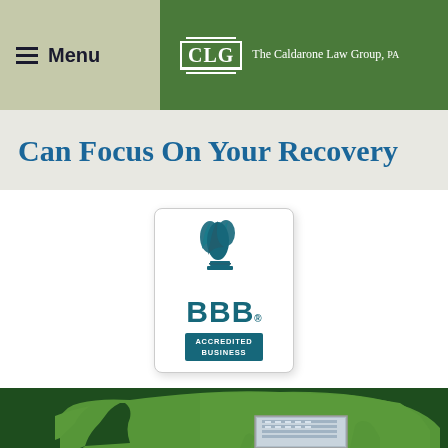Menu | CLG The Caldarone Law Group, PA
Can Focus On Your Recovery
[Figure (logo): BBB Accredited Business badge/seal with flame logo, blue and white colors]
[Figure (map): Green silhouette map of Florida on dark green background with a building photo inset at bottom]